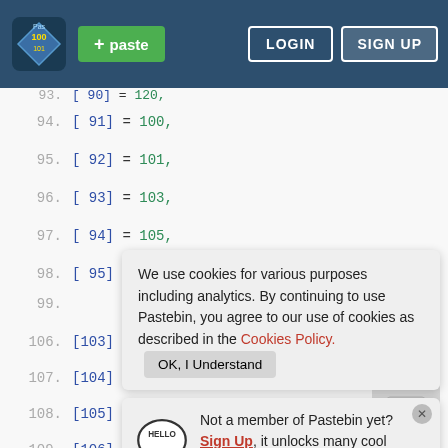Pastebin navigation bar with logo, +paste button, LOGIN and SIGN UP buttons
93. [ 90] = 120,
94. [ 91] = 100,
95. [ 92] = 101,
96. [ 93] = 103,
97. [ 94] = 105,
98. [ 95] = 106,
99.
100.
101.
102. [ 99] = 114,
103.
104.
105.
106. [103] = 124,
107. [104] = 125,
108. [105] = 127,
109. [106] = 128,
We use cookies for various purposes including analytics. By continuing to use Pastebin, you agree to our use of cookies as described in the Cookies Policy. OK, I Understand
Not a member of Pastebin yet? Sign Up, it unlocks many cool features!